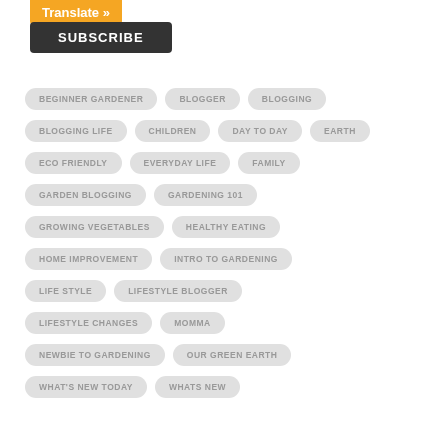Translate »
SUBSCRIBE
BEGINNER GARDENER
BLOGGER
BLOGGING
BLOGGING LIFE
CHILDREN
DAY TO DAY
EARTH
ECO FRIENDLY
EVERYDAY LIFE
FAMILY
GARDEN BLOGGING
GARDENING 101
GROWING VEGETABLES
HEALTHY EATING
HOME IMPROVEMENT
INTRO TO GARDENING
LIFE STYLE
LIFESTYLE BLOGGER
LIFESTYLE CHANGES
MOMMA
NEWBIE TO GARDENING
OUR GREEN EARTH
WHAT'S NEW TODAY
WHATS NEW